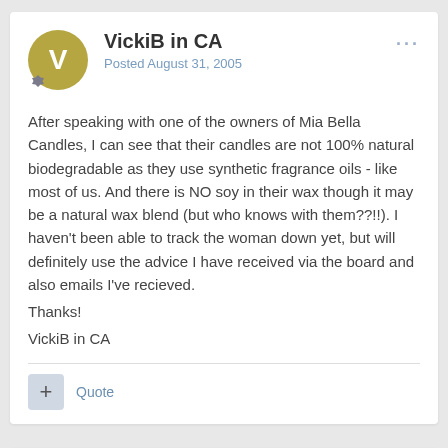VickiB in CA
Posted August 31, 2005
After speaking with one of the owners of Mia Bella Candles, I can see that their candles are not 100% natural biodegradable as they use synthetic fragrance oils - like most of us. And there is NO soy in their wax though it may be a natural wax blend (but who knows with them??!!). I haven't been able to track the woman down yet, but will definitely use the advice I have received via the board and also emails I've recieved.
Thanks!
VickiB in CA
Quote
Fire and Ice